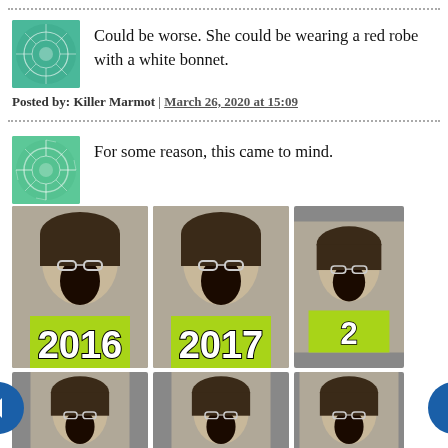Could be worse. She could be wearing a red robe with a white bonnet.
Posted by: Killer Marmot | March 26, 2020 at 15:09
For some reason, this came to mind.
[Figure (photo): Three repeated meme images of a person screaming with mouth open, wearing glasses and a dark hat, labeled 2016, 2017, and partially visible 2. Below: two more similar images, one with a red arrow/banner overlay reading YOU ARE HERE. Navigation arrows on left and right sides.]